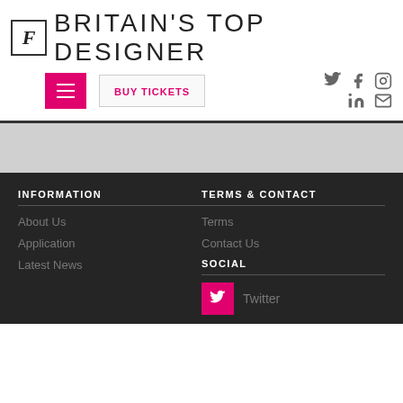BRITAIN'S TOP DESIGNER
BUY TICKETS
INFORMATION
TERMS & CONTACT
About Us
Application
Latest News
Terms
Contact Us
SOCIAL
Twitter